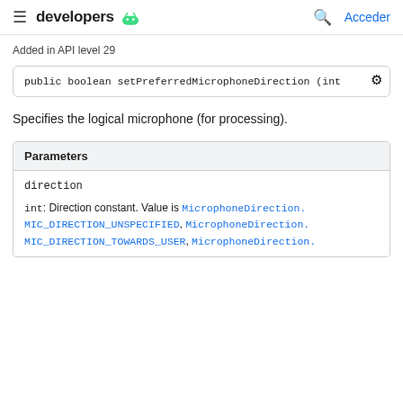developers [android logo] | Acceder
Added in API level 29
public boolean setPreferredMicrophoneDirection (int
Specifies the logical microphone (for processing).
| Parameters |
| --- |
| direction | int: Direction constant. Value is MicrophoneDirection.MIC_DIRECTION_UNSPECIFIED, MicrophoneDirection.MIC_DIRECTION_TOWARDS_USER, MicrophoneDirection. |
int: Direction constant. Value is MicrophoneDirection.MIC_DIRECTION_UNSPECIFIED, MicrophoneDirection.MIC_DIRECTION_TOWARDS_USER, MicrophoneDirection.